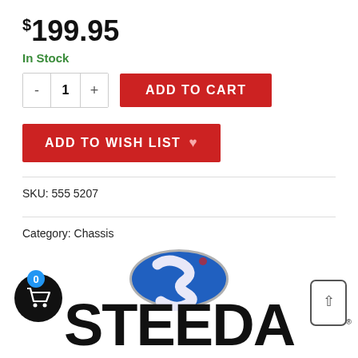$199.95
In Stock
ADD TO CART
ADD TO WISH LIST
SKU: 555 5207
Category: Chassis
Tag: Steeda 2015-2021 Ford Mustang Convertible Ultra Lite Low-Profile Chassis Jacking Rails
[Figure (logo): Steeda logo with blue oval S emblem above STEEDA wordmark in black bold text]